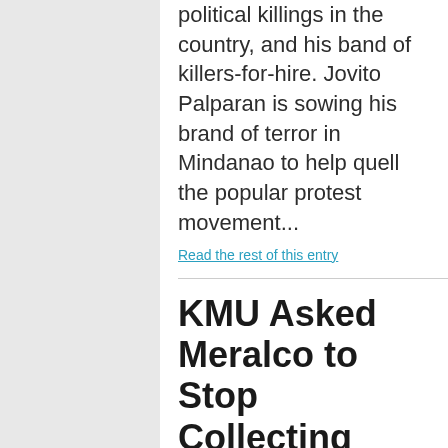political killings in the country, and his band of killers-for-hire. Jovito Palparan is sowing his brand of terror in Mindanao to help quell the popular protest movement...
Read the rest of this entry
KMU Asked Meralco to Stop Collecting Additional Fees, Give Rebates to